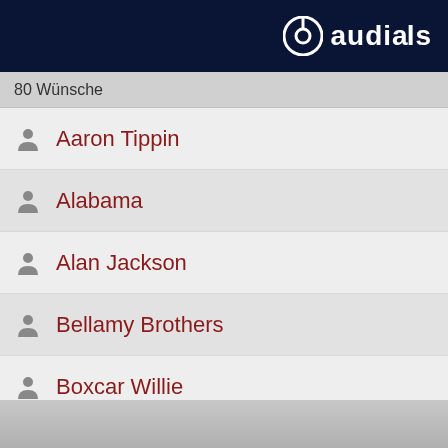audials
80 Wünsche
Aaron Tippin
Alabama
Alan Jackson
Bellamy Brothers
Boxcar Willie